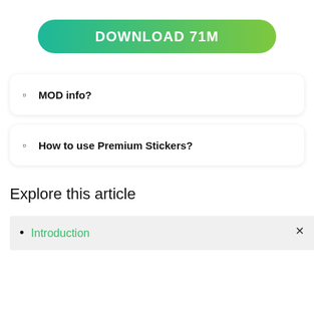[Figure (other): Green gradient download button with text DOWNLOAD 71M]
MOD info?
How to use Premium Stickers?
Explore this article
Introduction